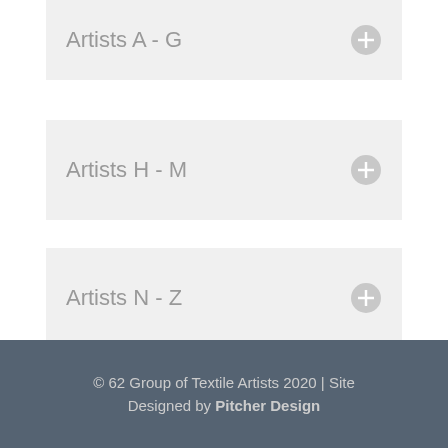Artists A - G
Artists H - M
Artists N - Z
© 62 Group of Textile Artists 2020 | Site Designed by Pitcher Design